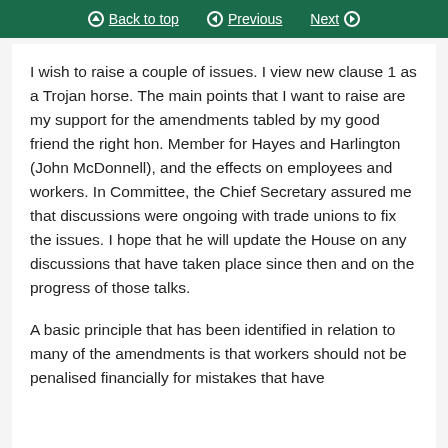Back to top | Previous | Next
I wish to raise a couple of issues. I view new clause 1 as a Trojan horse. The main points that I want to raise are my support for the amendments tabled by my good friend the right hon. Member for Hayes and Harlington (John McDonnell), and the effects on employees and workers. In Committee, the Chief Secretary assured me that discussions were ongoing with trade unions to fix the issues. I hope that he will update the House on any discussions that have taken place since then and on the progress of those talks.
A basic principle that has been identified in relation to many of the amendments is that workers should not be penalised financially for mistakes that have